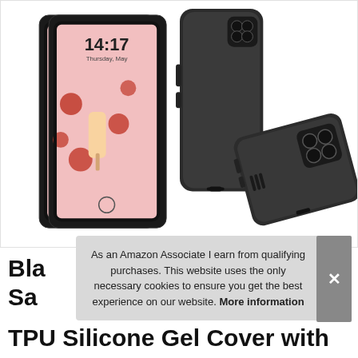[Figure (photo): Product photo showing a Samsung Galaxy A31 phone case (black silicone) and two screen protectors laid against white background. The phone screen protectors show a lock screen with time 14:17 Thursday and a raspberry/popsicle wallpaper.]
As an Amazon Associate I earn from qualifying purchases. This website uses the only necessary cookies to ensure you get the best experience on our website. More information
Bla
Sa
TPU Silicone Gel Cover with 2X